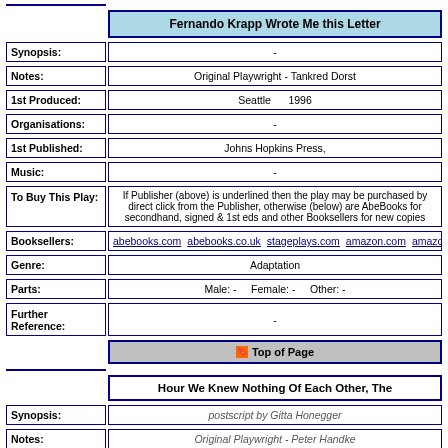Fernando Krapp Wrote Me this Letter
| Field | Value |
| --- | --- |
| Synopsis: | - |
| Notes: | Original Playwright - Tankred Dorst |
| 1st Produced: | Seattle    1996 |
| Organisations: | - |
| 1st Published: | Johns Hopkins Press, |
| Music: | - |
| To Buy This Play: | If Publisher (above) is underlined then the play may be purchased by direct click from the Publisher, otherwise (below) are AbeBooks for secondhand, signed & 1st eds and other Booksellers for new copies |
| Booksellers: | abebooks.com  abebooks.co.uk  stageplays.com  amazon.com  amazon.co.uk  am |
| Genre: | Adaptation |
| Parts: | Male: -    Female: -    Other: - |
| Further Reference: | - |
Top of Page
Hour We Knew Nothing Of Each Other, The
| Field | Value |
| --- | --- |
| Synopsis: | postscript by Gitta Honegger |
| Notes: | Original Playwright - Peter Handke |